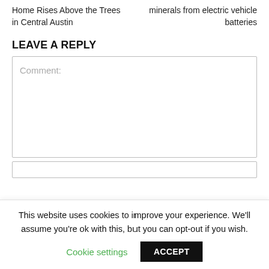Home Rises Above the Trees in Central Austin
minerals from electric vehicle batteries
LEAVE A REPLY
Comment:
This website uses cookies to improve your experience. We'll assume you're ok with this, but you can opt-out if you wish.
Cookie settings
ACCEPT